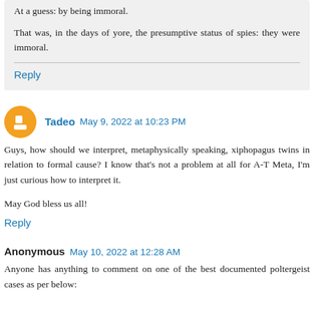At a guess: by being immoral.
That was, in the days of yore, the presumptive status of spies: they were immoral.
Reply
Tadeo  May 9, 2022 at 10:23 PM
Guys, how should we interpret, metaphysically speaking, xiphopagus twins in relation to formal cause? I know that's not a problem at all for A-T Meta, I'm just curious how to interpret it.
May God bless us all!
Reply
Anonymous  May 10, 2022 at 12:28 AM
Anyone has anything to comment on one of the best documented poltergeist cases as per below: